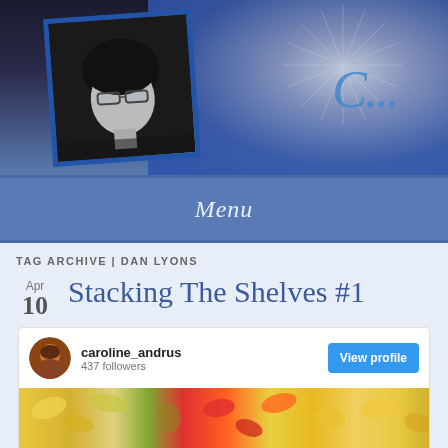[Figure (photo): Blog header banner with a black-and-white portrait photo of a woman with glasses in a blue-framed tilted rectangle, cursive script text to the right, on a dark blue to steel blue gradient background]
Menu
TAG ARCHIVE | DAN LYONS
Stacking The Shelves #1
[Figure (screenshot): Instagram profile embed card showing user caroline_andrus with 437 followers, a View profile button, and a floral image preview below]
caroline_andrus
437 followers